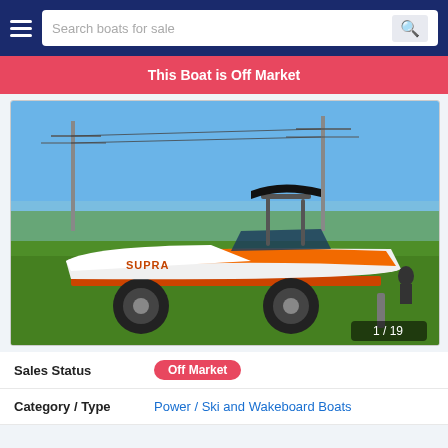Search boats for sale
This Boat is Off Market
[Figure (photo): Orange and white ski/wakeboard boat on a tandem axle trailer with black rims, parked on grass under a clear blue sky. Power lines and trees visible in background. Image counter shows 1 / 19.]
Sales Status   Off Market
Category / Type   Power / Ski and Wakeboard Boats